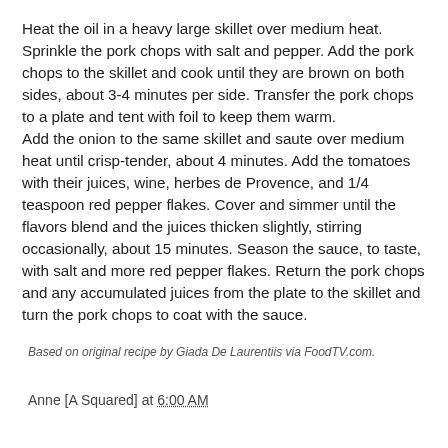Heat the oil in a heavy large skillet over medium heat. Sprinkle the pork chops with salt and pepper. Add the pork chops to the skillet and cook until they are brown on both sides, about 3-4 minutes per side. Transfer the pork chops to a plate and tent with foil to keep them warm. Add the onion to the same skillet and saute over medium heat until crisp-tender, about 4 minutes. Add the tomatoes with their juices, wine, herbes de Provence, and 1/4 teaspoon red pepper flakes. Cover and simmer until the flavors blend and the juices thicken slightly, stirring occasionally, about 15 minutes. Season the sauce, to taste, with salt and more red pepper flakes. Return the pork chops and any accumulated juices from the plate to the skillet and turn the pork chops to coat with the sauce.
Based on original recipe by Giada De Laurentiis via FoodTV.com.
Anne [A Squared] at 6:00 AM